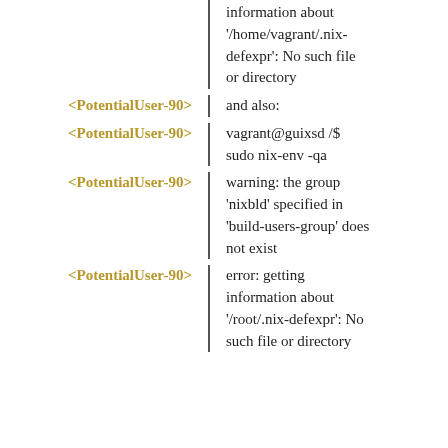information about '/home/vagrant/.nix-defexpr': No such file or directory
<PotentialUser-90> and also:
<PotentialUser-90> vagrant@guixsd /$ sudo nix-env -qa
<PotentialUser-90> warning: the group 'nixbld' specified in 'build-users-group' does not exist
<PotentialUser-90> error: getting information about '/root/.nix-defexpr': No such file or directory